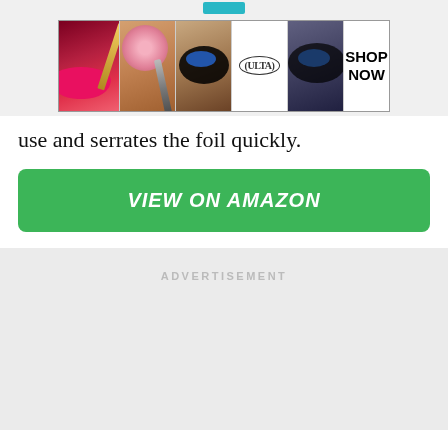[Figure (advertisement): Ulta Beauty advertisement banner with makeup images and SHOP NOW text]
use and serrates the foil quickly.
VIEW ON AMAZON
ADVERTISEMENT